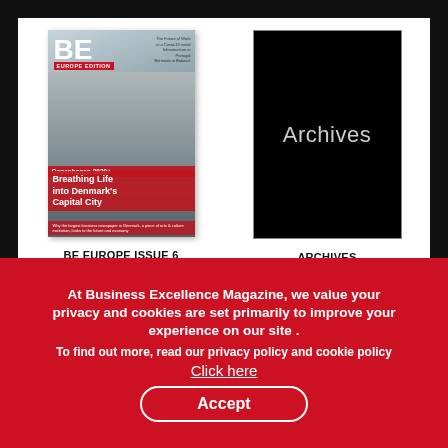[Figure (photo): Magazine cover of BE Europe Issue 6 showing a man with glasses and beard, with headline 'Breathing Life into Denmark's Capital City']
[Figure (photo): Black cover image with white text 'Archives']
BE EUROPE ISSUE 6
ARCHIVES
At Business Excellence Magazine, we value your privacy and cookies are set primarily to improve your experience on our site .
To find out more, read our privacy policy and cookie policy
Click here
Accept